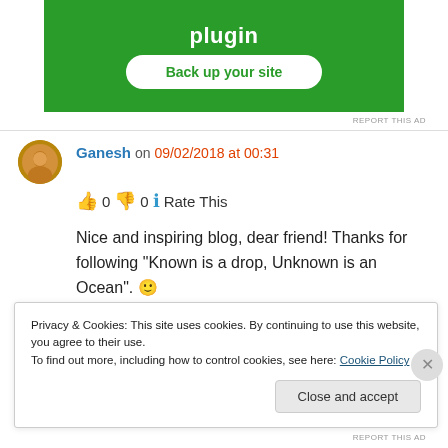[Figure (screenshot): Green advertisement banner with text 'plugin' and a white rounded button labeled 'Back up your site']
REPORT THIS AD
Ganesh on 09/02/2018 at 00:31
👍 0 👎 0 ℹ Rate This
Nice and inspiring blog, dear friend! Thanks for following "Known is a drop, Unknown is an Ocean". 🙂
Privacy & Cookies: This site uses cookies. By continuing to use this website, you agree to their use.
To find out more, including how to control cookies, see here: Cookie Policy
Close and accept